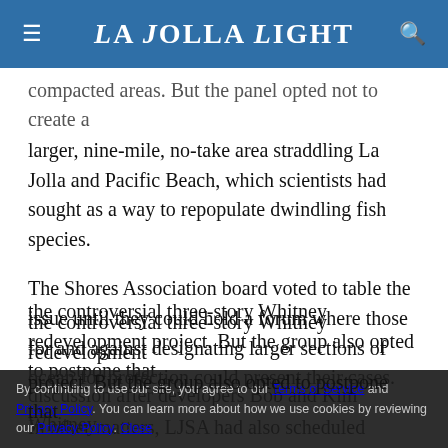La Jolla Light
compacted areas. But the panel opted not to create a larger, nine-mile, no-take area straddling La Jolla and Pacific Beach, which scientists had sought as a way to repopulate dwindling fish species.
The Shores Association board voted to table the issue until they could hold a forum where those for and against designating larger sections of ocean for protection could present their cases.
In other matters, LJSA had also scheduled discussion of the controversial three-story Whitney redevelopment project. But the group also opted to postpone that discussion after developers Bob and Kim Whitney
By continuing to use our site, you agree to our Terms of Service and Privacy Policy. You can learn more about how we use cookies by reviewing our Privacy Policy. Close